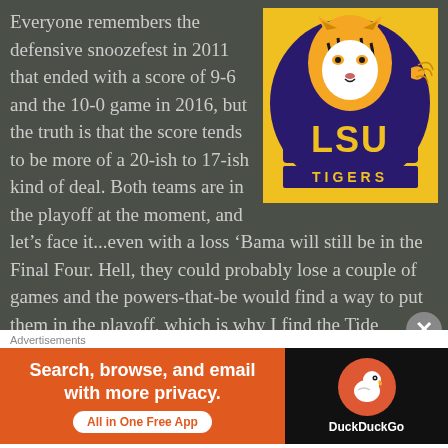Everyone remembers the defensive snoozefest in 2011 that ended with a score of 9-6 and the 10-0 game in 2016, but the truth is that the score tends to be more of a 20-ish to 17-ish kind of deal. Both teams are in the playoff at the moment, and let's face it...even with a loss 'Bama will still be in the Final Four. Hell, they could probably lose a couple of games and the powers-that-be would find a way to put them in the playoff, which is why I find the Tide painfully tedious. LSU has been a bit of a surprise since I didn't expect them to be quite so good this season, but I've been wrong about most everything else so why not. This feels like much more of a must-
[Figure (logo): LSU Tigers logo - gold background with tiger illustration and purple LSU text with TIGERS below]
Advertisements
[Figure (screenshot): DuckDuckGo advertisement: orange background left side reads 'Search, browse, and email with more privacy. All in One Free App'; black background right side shows DuckDuckGo duck logo and brand name]